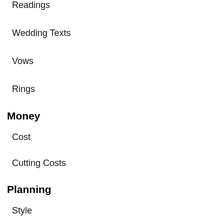Readings
Wedding Texts
Vows
Rings
Money
Cost
Cutting Costs
Planning
Style
Location
Invitations